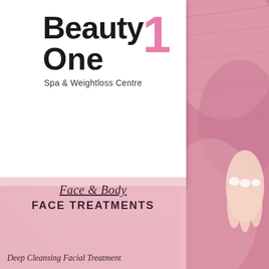[Figure (photo): Beauty One Spa & Weightloss Centre logo page cover with pink towel/spa background and a hand with manicured nails on the right side]
Beauty One
Spa & Weightloss Centre
Face & Body
FACE TREATMENTS
Deep Cleansing Facial Treatment